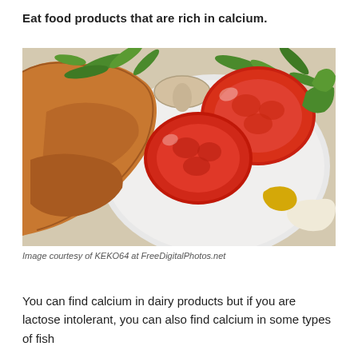Eat food products that are rich in calcium.
[Figure (photo): Overhead view of a white plate with toasted bread, sliced tomatoes, green arugula leaves, mushrooms, white sauce and yellow mustard condiments]
Image courtesy of KEKO64 at FreeDigitalPhotos.net
You can find calcium in dairy products but if you are lactose intolerant, you can also find calcium in some types of fish